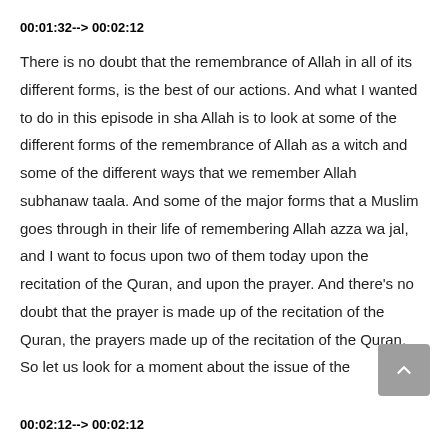00:01:32--> 00:02:12
There is no doubt that the remembrance of Allah in all of its different forms, is the best of our actions. And what I wanted to do in this episode in sha Allah is to look at some of the different forms of the remembrance of Allah as a witch and some of the different ways that we remember Allah subhanaw taala. And some of the major forms that a Muslim goes through in their life of remembering Allah azza wa jal, and I want to focus upon two of them today upon the recitation of the Quran, and upon the prayer. And there's no doubt that the prayer is made up of the recitation of the Quran, the prayers made up of the recitation of the Quran. So let us look for a moment about the issue of the
00:02:12--> 00:02:12